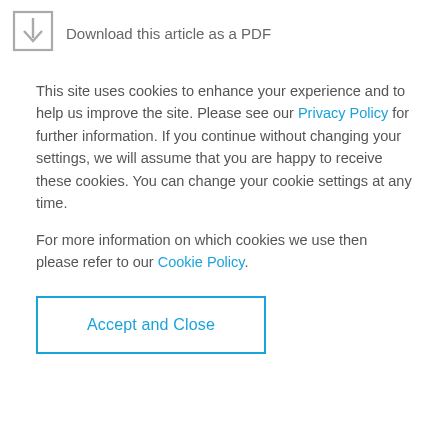[Figure (illustration): Download icon — a downward arrow inside a square border]
Download this article as a PDF
This site uses cookies to enhance your experience and to help us improve the site. Please see our Privacy Policy for further information. If you continue without changing your settings, we will assume that you are happy to receive these cookies. You can change your cookie settings at any time.
For more information on which cookies we use then please refer to our Cookie Policy.
Accept and Close